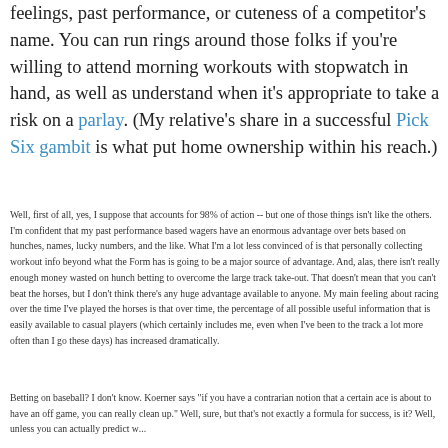feelings, past performance, or cuteness of a competitor's name. You can run rings around those folks if you're willing to attend morning workouts with stopwatch in hand, as well as understand when it's appropriate to take a risk on a parlay. (My relative's share in a successful Pick Six gambit is what put home ownership within his reach.)
Well, first of all, yes, I suppose that accounts for 98% of action -- but one of those things isn't like the others. I'm confident that my past performance based wagers have an enormous advantage over bets based on hunches, names, lucky numbers, and the like. What I'm a lot less convinced of is that personally collecting workout info beyond what the Form has is going to be a major source of advantage. And, alas, there isn't really enough money wasted on hunch betting to overcome the large track take-out. That doesn't mean that you can't beat the horses, but I don't think there's any huge advantage available to anyone. My main feeling about racing over the time I've played the horses is that over time, the percentage of all possible useful information that is easily available to casual players (which certainly includes me, even when I've been to the track a lot more often than I go these days) has increased dramatically.
Betting on baseball? I don't know. Koerner says "if you have a contrarian notion that a certain ace is about to have an off game, you can really clean up." Well, sure, but that's not exactly a formula for success, is it? Well, unless you can actually predict when...